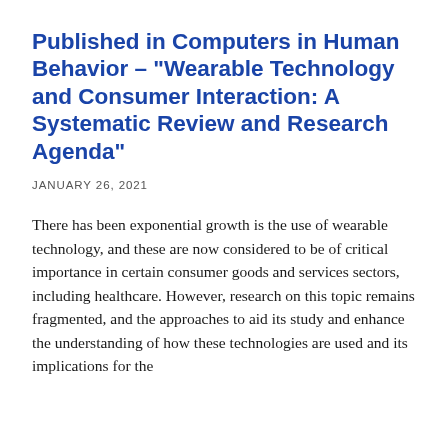Published in Computers in Human Behavior – "Wearable Technology and Consumer Interaction: A Systematic Review and Research Agenda"
JANUARY 26, 2021
There has been exponential growth is the use of wearable technology, and these are now considered to be of critical importance in certain consumer goods and services sectors, including healthcare. However, research on this topic remains fragmented, and the approaches to aid its study and enhance the understanding of how these technologies are used and its implications for the